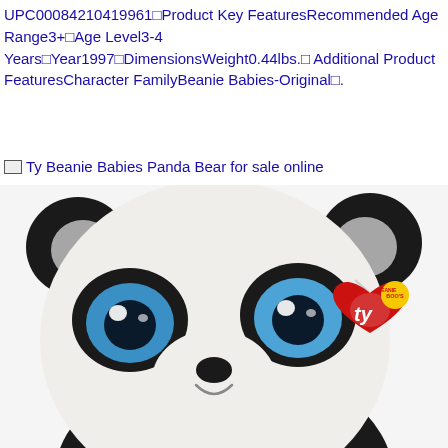UPC00084210419961Product Key FeaturesRecommended Age Range3+Age Level3-4 YearsYear1997DimensionsWeight0.44lbs.Additional Product FeaturesCharacter FamilyBeanie Babies-Original.
Ty Beanie Babies Panda Bear for sale online
[Figure (photo): Close-up photo of a Ty Beanie Boos plush panda bear with large glittery blue eyes, black and white fur, silver accents on ears, and a red heart-shaped Ty Beanie Boos tag on the right side.]